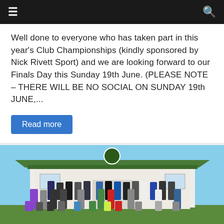Navigation bar with menu and search icons
Well done to everyone who has taken part in this year's Club Championships (kindly sponsored by Nick Rivett Sport) and we are looking forward to our Finals Day this Sunday 19th June. (PLEASE NOTE – THERE WILL BE NO SOCIAL ON SUNDAY 19th JUNE,...
Read more
[Figure (photo): Group photo of approximately 30 people posing outside a sports club building with a green roof, taken on a sunny day. People are arranged in rows with some seated in front.]